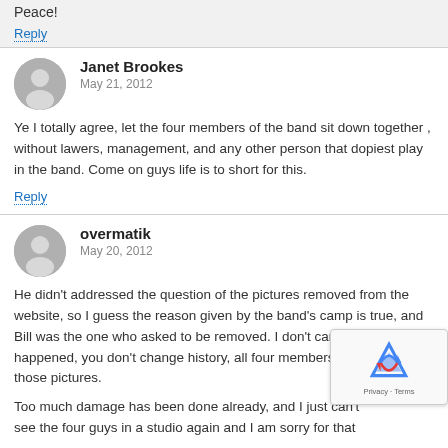Peace!
Reply
Janet Brookes
May 21, 2012
Ye I totally agree, let the four members of the band sit down together , without lawers, management, and any other person that dopiest play in the band. Come on guys life is to short for this.
Reply
overmatik
May 20, 2012
He didn't addressed the question of the pictures removed from the website, so I guess the reason given by the band's camp is true, and Bill was the one who asked to be removed. I don't care what is or has happened, you don't change history, all four members must be in those pictures.
Too much damage has been done already, and I just can't see the four guys in a studio again and I am sorry for that